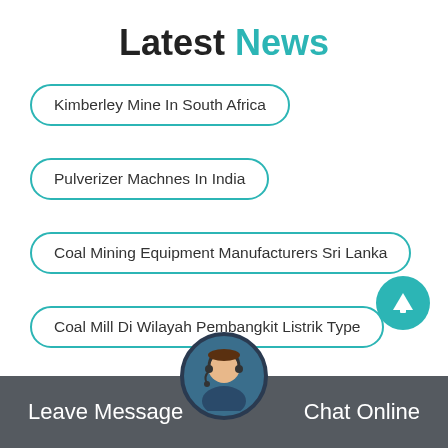Latest News
Kimberley Mine In South Africa
Pulverizer Machnes In India
Coal Mining Equipment Manufacturers Sri Lanka
Coal Mill Di Wilayah Pembangkit Listrik Type
Granite Quarry In Queensland
Eve Mining Ore Chart
Ore Recovery From Tailing Pond
Leave Message   Chat Online